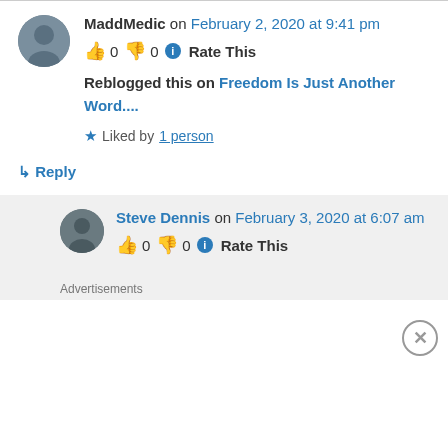MaddMedic on February 2, 2020 at 9:41 pm
👍 0 👎 0 ℹ Rate This
Reblogged this on Freedom Is Just Another Word....
★ Liked by 1 person
↳ Reply
Steve Dennis on February 3, 2020 at 6:07 am
👍 0 👎 0 ℹ Rate This
Advertisements